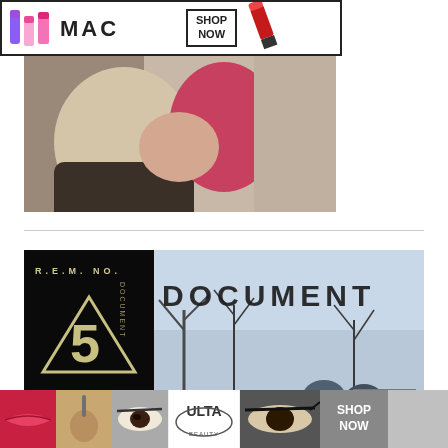[Figure (photo): MAC cosmetics banner advertisement showing lipsticks in purple, pink shades, MAC logo text, SHOP NOW box, and red lipstick on right side]
[Figure (photo): Top portion shows a blurred close-up photo of two people, one with blonde/light hair and one with pink/red hair, appearing to embrace or kiss]
[Figure (photo): R.E.M. No. 5 Document album cover image showing triangle logo with number 5 on dark background on left, and 'DOCUMENT' text over a wintry bare tree landscape on right, with CLOSE button]
[Figure (photo): ULTA beauty advertisement banner at bottom showing makeup thumbnails (lips, brush, eye), ULTA logo, eye makeup close-up, and SHOP NOW button]